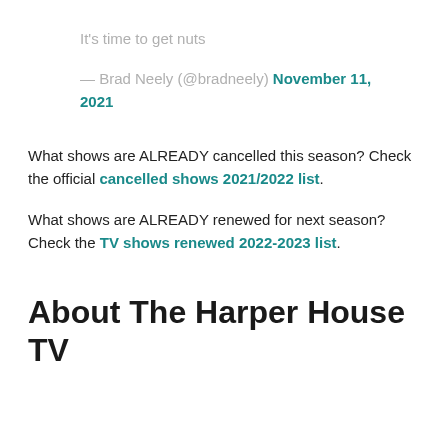It's time to get nuts
— Brad Neely (@bradneely) November 11, 2021
What shows are ALREADY cancelled this season? Check the official cancelled shows 2021/2022 list.
What shows are ALREADY renewed for next season? Check the TV shows renewed 2022-2023 list.
About The Harper House TV